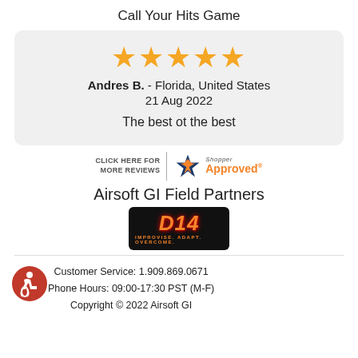Call Your Hits Game
Andres B. - Florida, United States
21 Aug 2022

The best ot the best
[Figure (logo): Shopper Approved badge with star icon, 'CLICK HERE FOR MORE REVIEWS' text and 'Shopper Approved' branding in orange]
Airsoft GI Field Partners
[Figure (logo): D14 logo on black background with fiery orange text reading 'D14' and subtitle 'IMPROVISE. ADAPT. OVERCOME.']
Customer Service: 1.909.869.0671
Phone Hours: 09:00-17:30 PST (M-F)
Copyright © 2022 Airsoft GI
[Figure (logo): Red circular accessibility icon showing a person in a wheelchair]